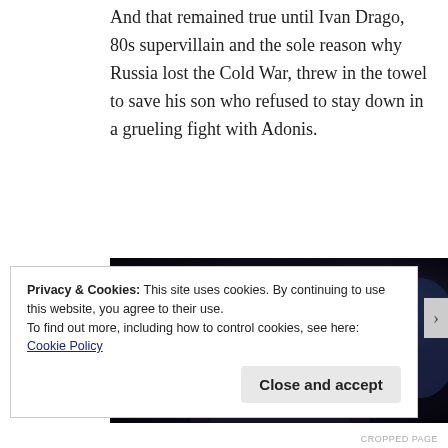And that remained true until Ivan Drago, 80s supervillain and the sole reason why Russia lost the Cold War, threw in the towel to save his son who refused to stay down in a grueling fight with Adonis.
[Figure (photo): A dark cinematic still showing an older man with silver/white hair, partially covering his face with his hand, in a dimly lit scene with blue tones in the background.]
Privacy & Cookies: This site uses cookies. By continuing to use this website, you agree to their use.
To find out more, including how to control cookies, see here:
Cookie Policy